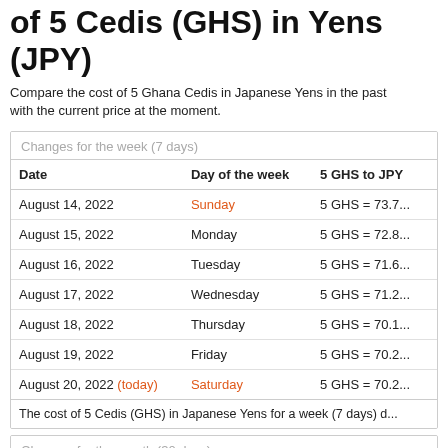of 5 Cedis (GHS) in Yens (JPY)
Compare the cost of 5 Ghana Cedis in Japanese Yens in the past with the current price at the moment.
| Date | Day of the week | 5 GHS to JPY |
| --- | --- | --- |
| August 14, 2022 | Sunday | 5 GHS = 73.7... |
| August 15, 2022 | Monday | 5 GHS = 72.8... |
| August 16, 2022 | Tuesday | 5 GHS = 71.6... |
| August 17, 2022 | Wednesday | 5 GHS = 71.2... |
| August 18, 2022 | Thursday | 5 GHS = 70.1... |
| August 19, 2022 | Friday | 5 GHS = 70.2... |
| August 20, 2022 (today) | Saturday | 5 GHS = 70.2... |